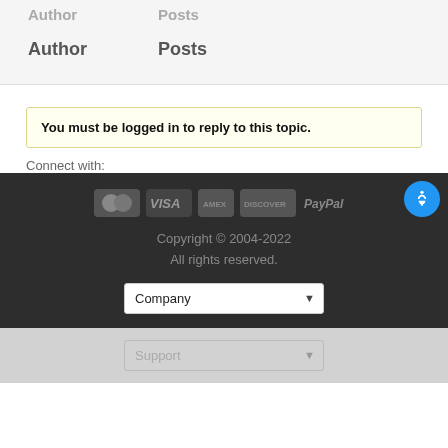| Author | Posts |
| --- | --- |
| Author | Posts |
You must be logged in to reply to this topic.
Connect with:
[Figure (infographic): Payment method icons: MasterCard, VISA, American Express, Discover, PayPal]
Copyright © 2004-2022
All rights reserved.
Company dropdown
Support dropdown